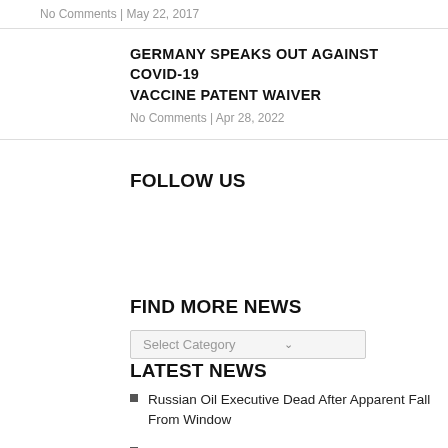No Comments | May 22, 2017
GERMANY SPEAKS OUT AGAINST COVID-19 VACCINE PATENT WAIVER
No Comments | Apr 28, 2022
FOLLOW US
FIND MORE NEWS
Select Category
LATEST NEWS
Russian Oil Executive Dead After Apparent Fall From Window
Mikhail Gorbachev Dies Aged 91